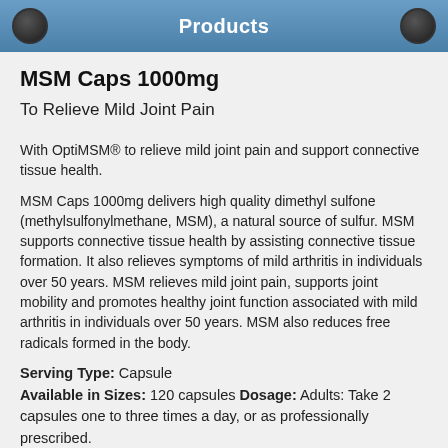Products
MSM Caps 1000mg
To Relieve Mild Joint Pain
With OptiMSM® to relieve mild joint pain and support connective tissue health.
MSM Caps 1000mg delivers high quality dimethyl sulfone (methylsulfonylmethane, MSM), a natural source of sulfur. MSM supports connective tissue health by assisting connective tissue formation. It also relieves symptoms of mild arthritis in individuals over 50 years. MSM relieves mild joint pain, supports joint mobility and promotes healthy joint function associated with mild arthritis in individuals over 50 years. MSM also reduces free radicals formed in the body.
Serving Type: Capsule Available in Sizes: 120 capsules Dosage: Adults: Take 2 capsules one to three times a day, or as professionally prescribed.